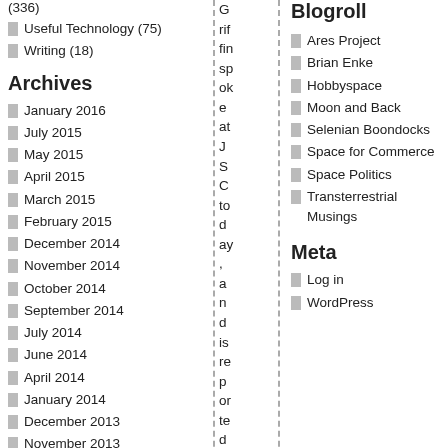(336)
Useful Technology (75)
Writing (18)
Archives
January 2016
July 2015
May 2015
April 2015
March 2015
February 2015
December 2014
November 2014
October 2014
September 2014
July 2014
June 2014
April 2014
January 2014
December 2013
November 2013
October 2013
September 2013
August 2013
July 2013
May 2013
Griffinspoke at JSC today, and is reported to have said th
Blogroll
Ares Project
Brian Enke
Hobbyspace
Moon and Back
Selenian Boondocks
Space for Commerce
Space Politics
Transterrestrial Musings
Meta
Log in
WordPress